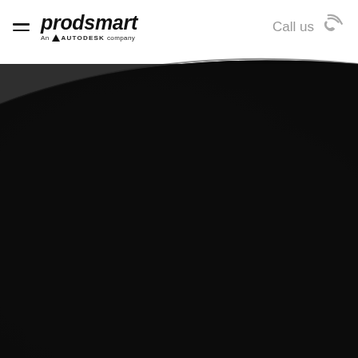prodsmart An AUTODESK company | Call us
[Figure (photo): Large dark black textured background image occupying the lower three-quarters of the page, with a curved diagonal edge at the top separating it from the white header area.]